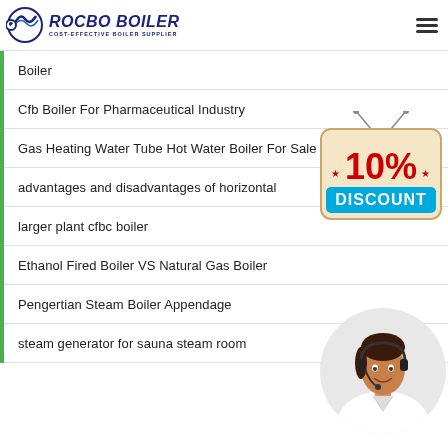ROCBO BOILER - COST-EFFECTIVE BOILER SUPPLIER
Boiler
Cfb Boiler For Pharmaceutical Industry
Gas Heating Water Tube Hot Water Boiler For Sale
advantages and disadvantages of horizontal nt
larger plant cfbc boiler
Ethanol Fired Boiler VS Natural Gas Boiler
Pengertian Steam Boiler Appendage
steam generator for sauna steam room
[Figure (infographic): 10% DISCOUNT badge hanging sign]
[Figure (photo): Customer service representative woman with headset in circular frame]